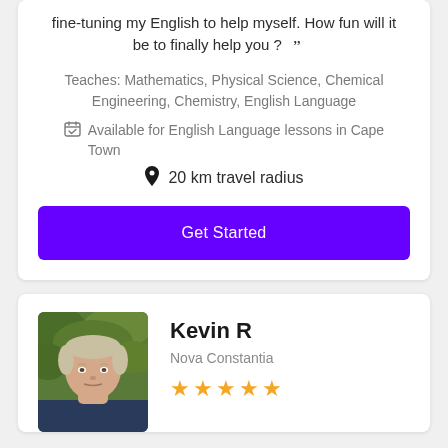fine-tuning my English to help myself. How fun will it be to finally help you ? "
Teaches: Mathematics, Physical Science, Chemical Engineering, Chemistry, English Language
Available for English Language lessons in Cape Town
20 km travel radius
Get Started
Kevin R
Nova Constantia
[Figure (photo): Headshot of Kevin R, a middle-aged man with grey/blond hair outdoors with green foliage background]
★★★★★